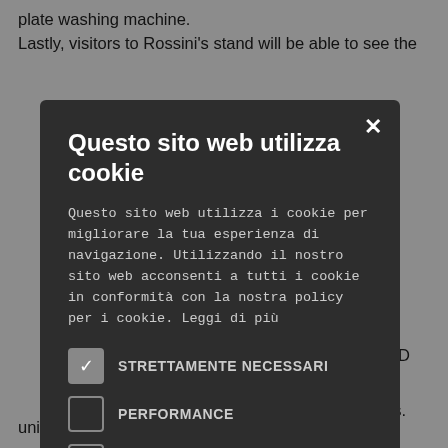plate washing machine.
Lastly, visitors to Rossini's stand will be able to see the
[Figure (screenshot): Cookie consent modal dialog with dark background. Title: 'Questo sito web utilizza cookie'. Body text in Italian about cookie usage. Checkboxes for STRETTAMENTE NECESSARI (checked), PERFORMANCE (unchecked), TARGETING (unchecked). Buttons: ACCETTA TUTTO (green), RIFIUTA TUTTO (outline). MOSTRA DETTAGLI link with gear icon.]
lock with
force. It's
adjustable
element
ividual RFID
ZM 300
rerogatives.
ed directly
aging sector,
s compact,
universally applicable, and encoded interlock with a